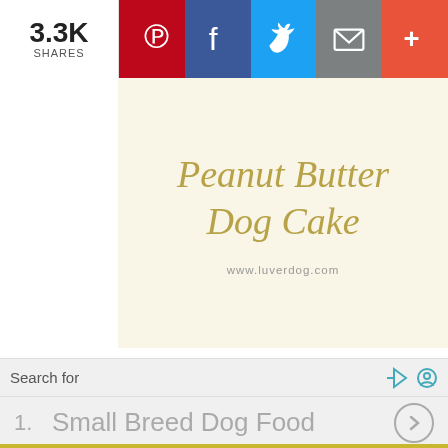3.3K SHARES
[Figure (screenshot): Social sharing bar with Pinterest, Facebook, Twitter, Email, and More buttons]
[Figure (infographic): Recipe card with cursive text 'Peanut Butter Dog Cake' on pale yellow background with URL www.luverdog.com]
4. Peanut Butter Pupcakes
Who can resist peanut butter? I'm sure your dogs will love these peanut butter pupcakes. Do not worry, this recipe is free from xylitol.
What you waiting for? Let Pawty with this pupcakes.
Search for
1.  Small Breed Dog Food